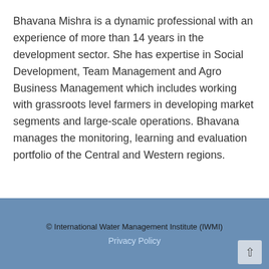Bhavana Mishra is a dynamic professional with an experience of more than 14 years in the development sector. She has expertise in Social Development, Team Management and Agro Business Management which includes working with grassroots level farmers in developing market segments and large-scale operations. Bhavana manages the monitoring, learning and evaluation portfolio of the Central and Western regions.
© International Water Management Institute (IWMI)
Privacy Policy